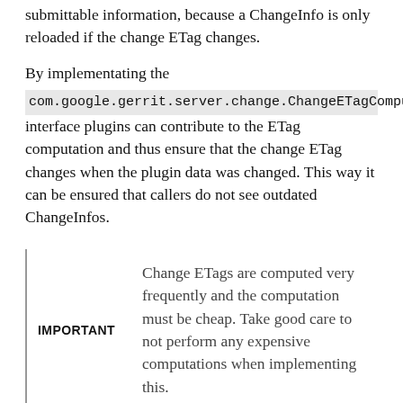submittable information, because a ChangeInfo is only reloaded if the change ETag changes.
By implementating the com.google.gerrit.server.change.ChangeETagComputation interface plugins can contribute to the ETag computation and thus ensure that the change ETag changes when the plugin data was changed. This way it can be ensured that callers do not see outdated ChangeInfos.
IMPORTANT
Change ETags are computed very frequently and the computation must be cheap. Take good care to not perform any expensive computations when implementing this.